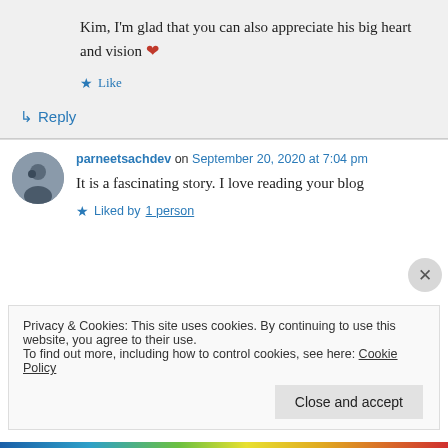Kim, I'm glad that you can also appreciate his big heart and vision ❤
Like
↳ Reply
parneetsachdev on September 20, 2020 at 7:04 pm
It is a fascinating story. I love reading your blog
Liked by 1 person
Privacy & Cookies: This site uses cookies. By continuing to use this website, you agree to their use.
To find out more, including how to control cookies, see here: Cookie Policy
Close and accept